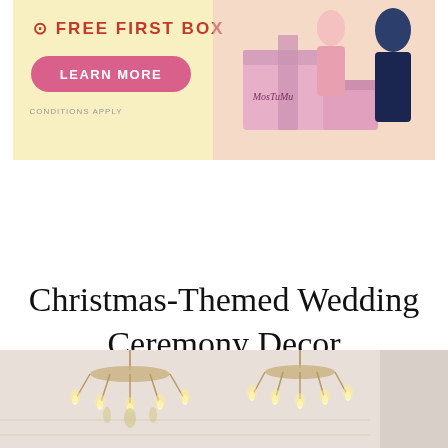[Figure (illustration): Advertisement banner with pink background, 'FREE FIRST BOX' text in bold, a pink 'LEARN MORE' button, 'CONDITIONS APPLY' text, and an illustrated image of a couple with pink boxes labeled 'MosTuMu' on a light yellow background]
Christmas-Themed Wedding Ceremony Decor
[Figure (photo): Bottom portion of a photo showing crystal chandeliers with candle-style lights hanging from the ceiling in what appears to be an elegant white wedding ceremony venue]